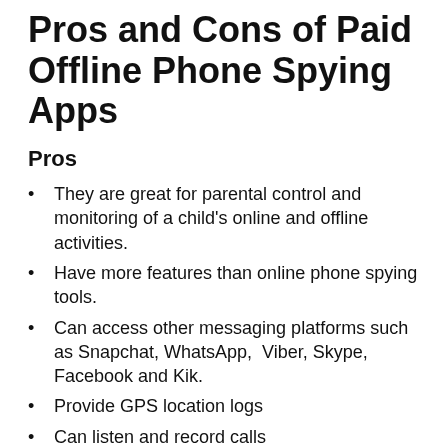Pros and Cons of Paid Offline Phone Spying Apps
Pros
They are great for parental control and monitoring of a child's online and offline activities.
Have more features than online phone spying tools.
Can access other messaging platforms such as Snapchat, WhatsApp,  Viber, Skype, Facebook and Kik.
Provide GPS location logs
Can listen and record calls
Cons